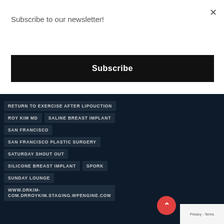Subscribe to our newsletter!
Subscribe
RETURN TO EXERCISE AFTER LIPOUCTION
ROY KIM MD
SALINE BREAST IMPLANT
SAN FRANCISCO
SAN FRANCISCO PLASTIC SURGERY
SATURDAY SHOUT OUT
SILICONE BREAST IMPLANT
SPORK
SUNDAY LOUNGE
WWW.DRKIM-COM.DRROYKIM.STAGING.WPENGINE.COM
Privacy - Terms